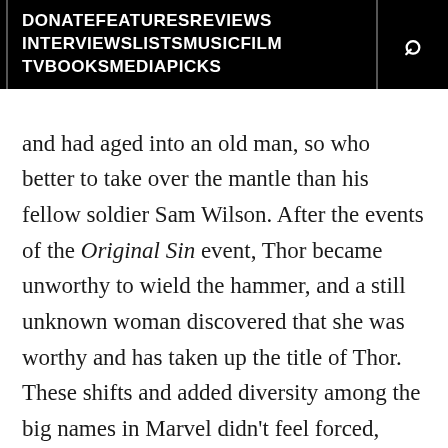DONATEFEATURESREVIEWS INTERVIEWSLISTSMUSICFILM TVBOOKSMEDIAPICKS
and had aged into an old man, so who better to take over the mantle than his fellow soldier Sam Wilson. After the events of the Original Sin event, Thor became unworthy to wield the hammer, and a still unknown woman discovered that she was worthy and has taken up the title of Thor. These shifts and added diversity among the big names in Marvel didn't feel forced, whether they were or not. Unfortunately, All-New X-Men #40 does not quite hit the same hit the same mark.